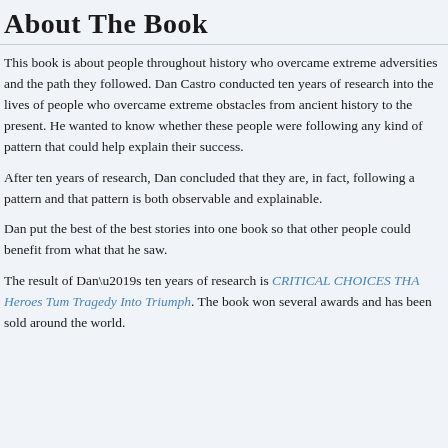About The Book
This book is about people throughout history who overcame extreme obstacles and the path they followed. Dan Castro conducted ten years of research into the lives of people who overcame extreme obstacles from ancient history to the present. He wanted to know whether these people were following any kind of pattern that could help explain their success.
After ten years of research, Dan concluded that they are, in fact, following a pattern and that pattern is both observable and explainable.
Dan put the best of the best stories into one book so that other people could benefit from what that he saw.
The result of Dan’s ten years of research is CRITICAL CHOICES THAT Change the Lives of Heroes Tum Tragedy Into Triumph. The book won several awards and has been sold around the world.